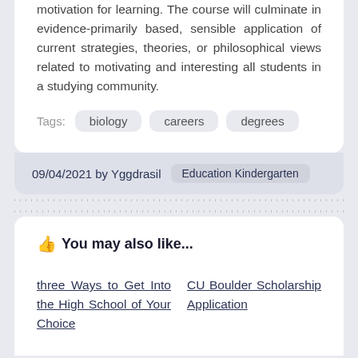motivation for learning. The course will culminate in evidence-primarily based, sensible application of current strategies, theories, or philosophical views related to motivating and interesting all students in a studying community.
Tags: biology careers degrees
09/04/2021 by Yggdrasil Education Kindergarten
👍 You may also like...
three Ways to Get Into the High School of Your Choice
CU Boulder Scholarship Application